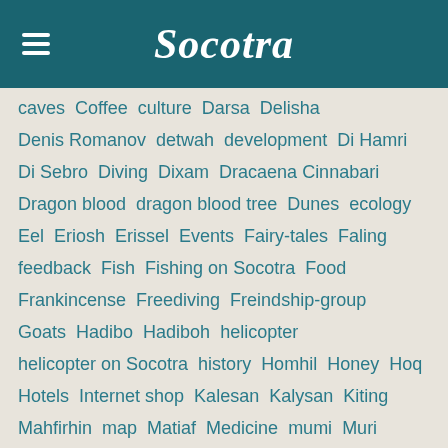Socotra
caves Coffee culture Darsa Delisha Denis Romanov detwah development Di Hamri Di Sebro Diving Dixam Dracaena Cinnabari Dragon blood dragon blood tree Dunes ecology Eel Eriosh Erissel Events Fairy-tales Faling feedback Fish Fishing on Socotra Food Frankincense Freediving Freindship-group Goats Hadibo Hadiboh helicopter helicopter on Socotra history Homhil Honey Hoq Hotels Internet shop Kalesan Kalysan Kiting Mahfirhin map Matiaf Medicine mumi Muri Museum Music Nature Net New year Noget November Oldowan